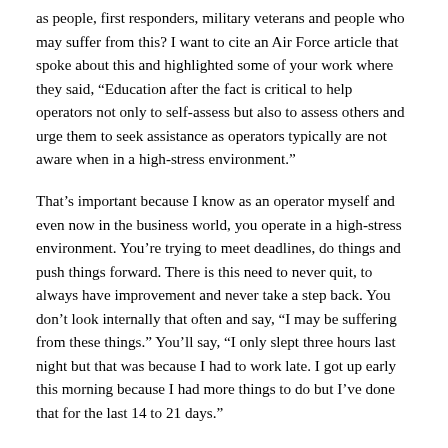as people, first responders, military veterans and people who may suffer from this? I want to cite an Air Force article that spoke about this and highlighted some of your work where they said, “Education after the fact is critical to help operators not only to self-assess but also to assess others and urge them to seek assistance as operators typically are not aware when in a high-stress environment.”
That’s important because I know as an operator myself and even now in the business world, you operate in a high-stress environment. You’re trying to meet deadlines, do things and push things forward. There is this need to never quit, to always have improvement and never take a step back. You don’t look internally that often and say, “I may be suffering from these things.” You’ll say, “I only slept three hours last night but that was because I had to work late. I got up early this morning because I had more things to do but I’ve done that for the last 14 to 21 days.”